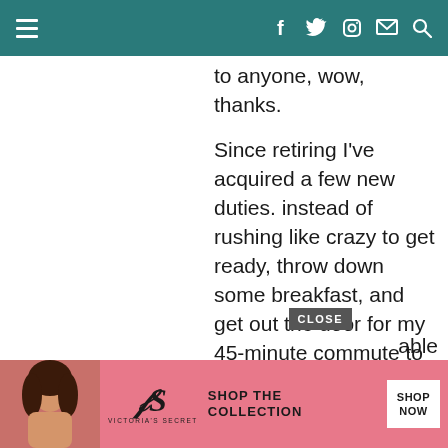Navigation bar with hamburger menu and social icons (Facebook, Twitter, Instagram, Mail, Search)
to anyone, wow, thanks.

Since retiring I've acquired a few new duties. instead of rushing like crazy to get ready, throw down some breakfast, and get out the door for my 45-minute commute to the office, I now get up before my wife, bring her a coffee in bed, and then I prepare our breakfast, which
[Figure (photo): Advertisement banner for Victoria's Secret with a woman's photo on the left, VS logo, and 'SHOP THE COLLECTION' text with 'SHOP NOW' button]